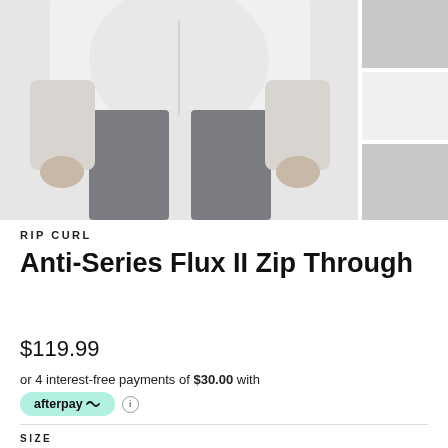[Figure (photo): Product photo of Rip Curl Anti-Series Flux II Zip Through jacket worn by model, showing torso area with grey leggings, with two thumbnail images on the right side]
RIP CURL
Anti-Series Flux II Zip Through
$119.99
or 4 interest-free payments of $30.00 with afterpay ⓘ
SIZE
XS  S  M  L  XL